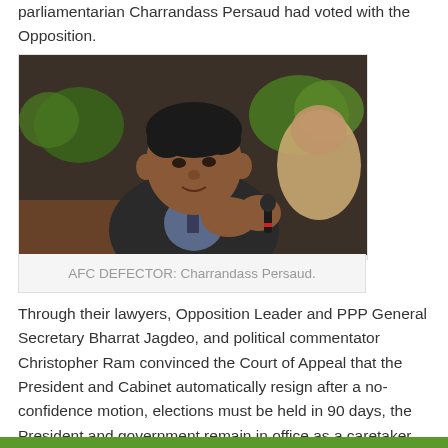parliamentarian Charrandass Persaud had voted with the Opposition.
[Figure (photo): Photo of Charrandass Persaud, an AFC defector, sitting in what appears to be a parliamentary setting, wearing a suit and speaking or listening attentively, with other people in green clothing visible in the background.]
AFC DEFECTOR: Charrandass Persaud.
Through their lawyers, Opposition Leader and PPP General Secretary Bharrat Jagdeo, and political commentator Christopher Ram convinced the Court of Appeal that the President and Cabinet automatically resign after a no-confidence motion, elections must be held in 90 days, the President and government remain in office as a caretaker administration until those